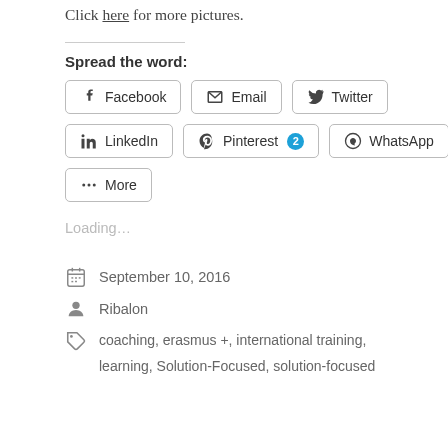Click here for more pictures.
Spread the word:
Facebook | Email | Twitter | LinkedIn | Pinterest 2 | WhatsApp | More
Loading...
September 10, 2016
Ribalon
coaching, erasmus +, international training, learning, Solution-Focused, solution-focused